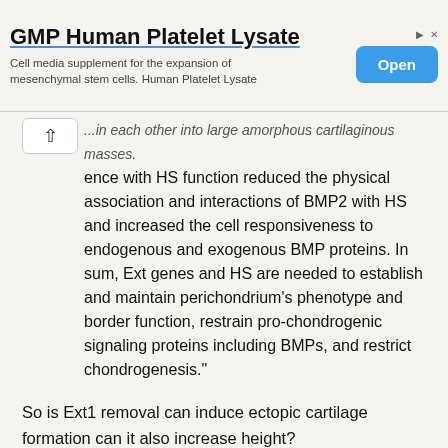[Figure (other): Advertisement banner for GMP Human Platelet Lysate — cell media supplement for the expansion of mesenchymal stem cells. Human Platelet Lysate. Contains an 'Open' button and ad icons.]
...in each other into large amorphous cartilaginous masses. ...ence with HS function reduced the physical association and interactions of BMP2 with HS and increased the cell responsiveness to endogenous and exogenous BMP proteins. In sum, Ext genes and HS are needed to establish and maintain perichondrium's phenotype and border function, restrain pro-chondrogenic signaling proteins including BMPs, and restrict chondrogenesis."
So is Ext1 removal can induce ectopic cartilage formation can it also increase height?
"HME is characterized by cartilaginous and bony outgrowths (exostoses) that form next to, but never within, the growth plates." Apparently HME results in short rather than tall stature(most of the time).
"when we compared the frequency of ectopic cartilage formation